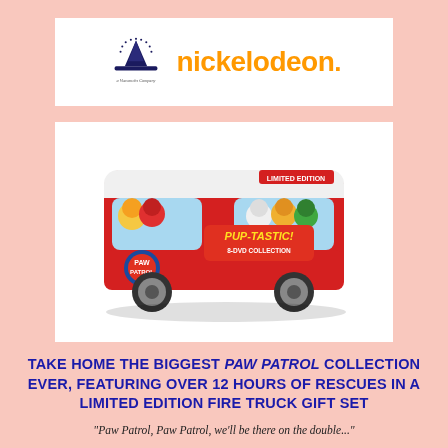[Figure (logo): Paramount and Nickelodeon logos side by side on white background]
[Figure (photo): PAW Patrol Pup-Tastic limited edition fire truck shaped DVD gift set box featuring cartoon dog characters]
TAKE HOME THE BIGGEST PAW PATROL COLLECTION EVER, FEATURING OVER 12 HOURS OF RESCUES IN A LIMITED EDITION FIRE TRUCK GIFT SET
"Paw Patrol, Paw Patrol, we'll be there on the double..."